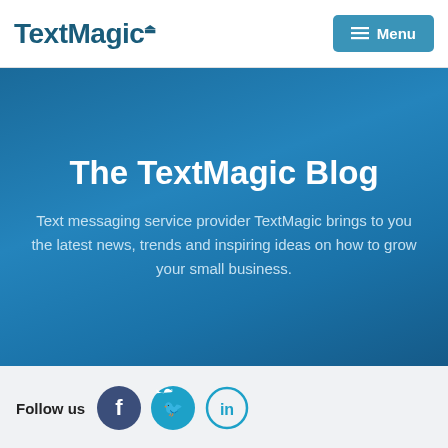TextMagic | Menu
The TextMagic Blog
Text messaging service provider TextMagic brings to you the latest news, trends and inspiring ideas on how to grow your small business.
Follow us
[Figure (logo): Social media icons: Facebook, Twitter, LinkedIn]
Search